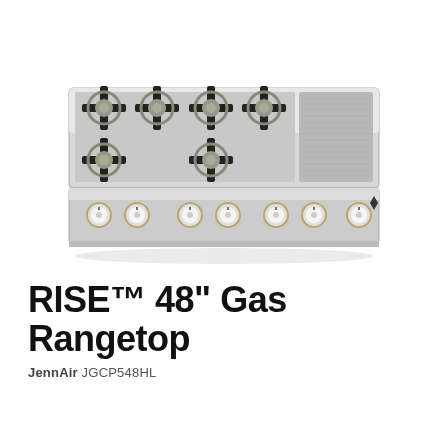[Figure (photo): JennAir RISE 48-inch Gas Rangetop (model JGCP548HL) in stainless steel, shown from a slightly elevated front angle. The rangetop features 6 sealed burners with black cast iron grates and brass accents on the left, and a flat griddle surface on the right. Seven chrome knobs with gold trim are mounted on the front panel. The JennAir logo appears on the lower right of the front panel.]
RISE™ 48" Gas Rangetop
JennAir JGCP548HL